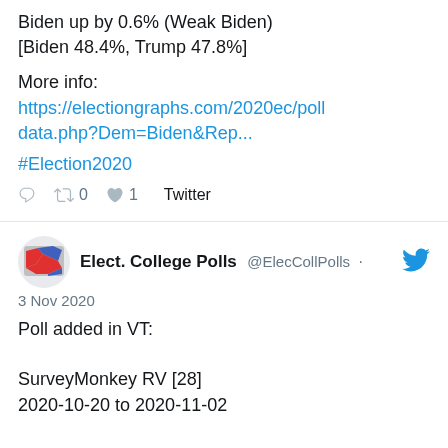Biden up by 0.6% (Weak Biden)
[Biden 48.4%, Trump 47.8%]
More info:
https://electiongraphs.com/2020ec/polldata.php?Dem=Biden&Rep...
#Election2020
0  0  1  Twitter
Elect. College Polls @ElecCollPolls · 3 Nov 2020
Poll added in VT:

SurveyMonkey RV [28]
2020-10-20 to 2020-11-02

Biden 68.0%
Trump 28.9%